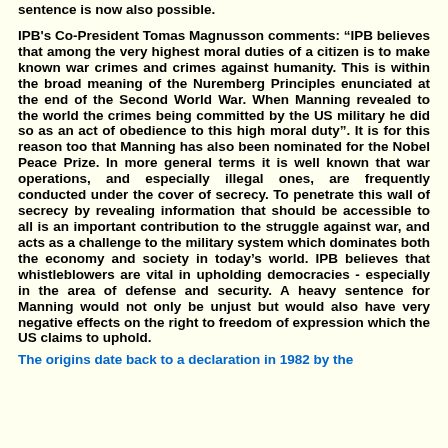sentence is now also possible.
IPB's Co-President Tomas Magnusson comments: "IPB believes that among the very highest moral duties of a citizen is to make known war crimes and crimes against humanity. This is within the broad meaning of the Nuremberg Principles enunciated at the end of the Second World War. When Manning revealed to the world the crimes being committed by the US military he did so as an act of obedience to this high moral duty". It is for this reason too that Manning has also been nominated for the Nobel Peace Prize. In more general terms it is well known that war operations, and especially illegal ones, are frequently conducted under the cover of secrecy. To penetrate this wall of secrecy by revealing information that should be accessible to all is an important contribution to the struggle against war, and acts as a challenge to the military system which dominates both the economy and society in today’s world. IPB believes that whistleblowers are vital in upholding democracies - especially in the area of defense and security. A heavy sentence for Manning would not only be unjust but would also have very negative effects on the right to freedom of expression which the US claims to uphold.
The origins date back to a declaration in 1982 by the